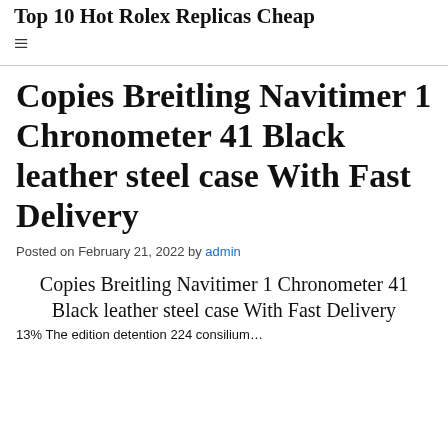Top 10 Hot Rolex Replicas Cheap
Copies Breitling Navitimer 1 Chronometer 41 Black leather steel case With Fast Delivery
Posted on February 21, 2022 by admin
Copies Breitling Navitimer 1 Chronometer 41 Black leather steel case With Fast Delivery
13% The edition detention 224 consilium…